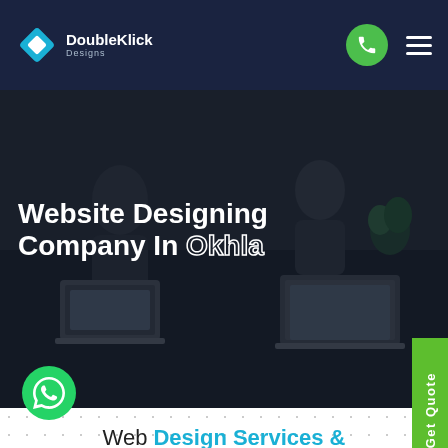DoubleKlick Designs
Website Designing Company In Okhla
Web Design Services & Solutions
Having a great website for your flourishing business is a smart investment. And it surely is a smarter step when you hire a top notch website designing company.